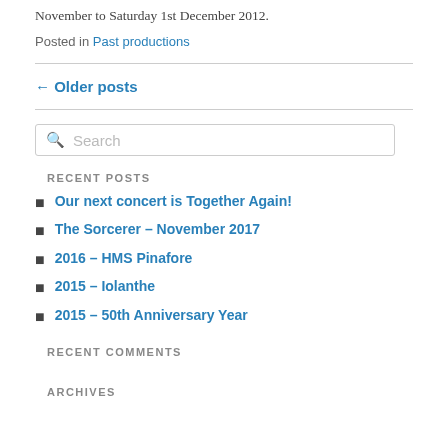November to Saturday 1st December 2012.
Posted in Past productions
← Older posts
Search
RECENT POSTS
Our next concert is Together Again!
The Sorcerer – November 2017
2016 – HMS Pinafore
2015 – Iolanthe
2015 – 50th Anniversary Year
RECENT COMMENTS
ARCHIVES